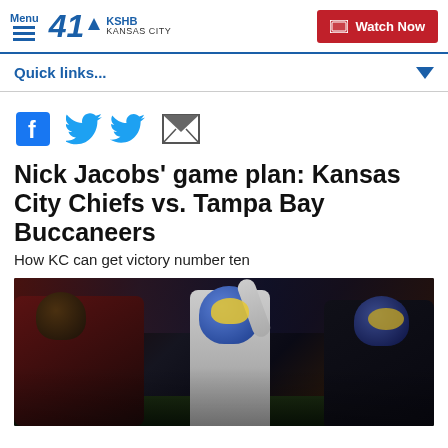Menu | 41 KSHB KANSAS CITY | Watch Now
Quick links...
[Figure (other): Social sharing icons: Facebook, Twitter, Email]
Nick Jacobs’ game plan: Kansas City Chiefs vs. Tampa Bay Buccaneers
How KC can get victory number ten
[Figure (photo): NFL football players in action, featuring a player wearing a blue and gold Los Angeles Rams helmet, surrounded by players in dark Buccaneers uniforms.]